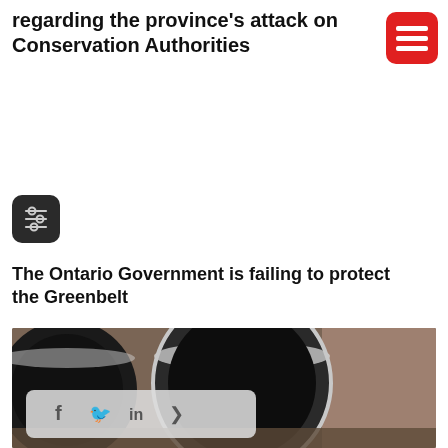regarding the province's attack on Conservation Authorities
[Figure (logo): Red rounded rectangle menu/hamburger icon]
[Figure (other): Dark rounded square icon with filter/sliders symbol]
The Ontario Government is failing to protect the Greenbelt
[Figure (photo): Close-up photo of large industrial pipes/culverts in concrete structure with water, partially viewed]
[Figure (other): Social share bar with Facebook, Twitter, LinkedIn, and share icons]